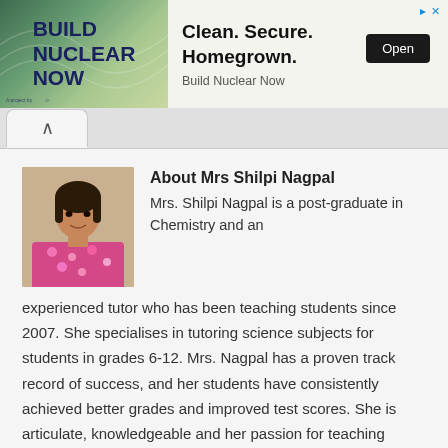[Figure (screenshot): Advertisement banner for Build Nuclear Now: left side shows bold navy text 'BUILD NUCLEAR NOW' on green background with wave lines; right side shows 'Clean. Secure. Homegrown.' headline with Open button and 'Build Nuclear Now' label]
About Mrs Shilpi Nagpal
[Figure (photo): Portrait photo of Mrs Shilpi Nagpal, a woman wearing a floral top, smiling]
Mrs. Shilpi Nagpal is a post-graduate in Chemistry and an experienced tutor who has been teaching students since 2007. She specialises in tutoring science subjects for students in grades 6-12. Mrs. Nagpal has a proven track record of success, and her students have consistently achieved better grades and improved test scores. She is articulate, knowledgeable and her passion for teaching shines through in her work with students.